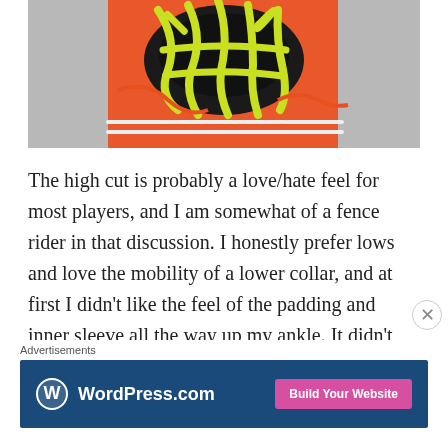[Figure (photo): Close-up photo of a basketball shoe with bright yellow-green laces against an orange and black shoe body, shot from the top/tongue area]
The high cut is probably a love/hate feel for most players, and I am somewhat of a fence rider in that discussion. I honestly prefer lows and love the mobility of a lower collar, and at first I didn't like the feel of the padding and inner sleeve all the way up my ankle. It didn't affect me in any way, other than
Advertisements
[Figure (screenshot): WordPress.com advertisement banner with dark blue background showing WordPress logo and text, and a pink 'Build Your Website' button]